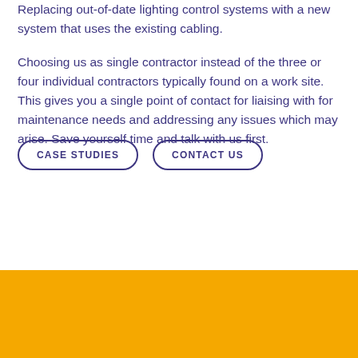Replacing out-of-date lighting control systems with a new system that uses the existing cabling.
Choosing us as single contractor instead of the three or four individual contractors typically found on a work site. This gives you a single point of contact for liaising with for maintenance needs and addressing any issues which may arise.  Save yourself time and talk with us first.
CASE STUDIES
CONTACT US